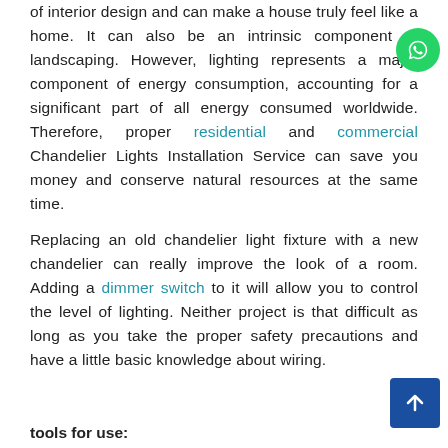of interior design and can make a house truly feel like a home. It can also be an intrinsic component of landscaping. However, lighting represents a major component of energy consumption, accounting for a significant part of all energy consumed worldwide. Therefore, proper residential and commercial Chandelier Lights Installation Service can save you money and conserve natural resources at the same time.
Replacing an old chandelier light fixture with a new chandelier can really improve the look of a room. Adding a dimmer switch to it will allow you to control the level of lighting. Neither project is that difficult as long as you take the proper safety precautions and have a little basic knowledge about wiring.
tools for use: